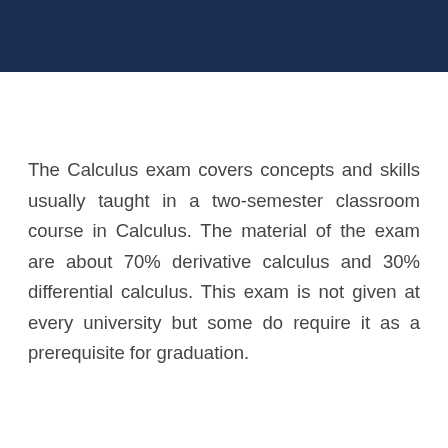[Figure (other): Dark navy blue header bar spanning the full width at the top of the page]
The Calculus exam covers concepts and skills usually taught in a two-semester classroom course in Calculus. The material of the exam are about 70% derivative calculus and 30% differential calculus. This exam is not given at every university but some do require it as a prerequisite for graduation.